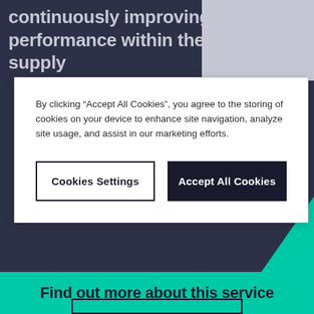continuously improving ethical performance within their supply
By clicking “Accept All Cookies”, you agree to the storing of cookies on your device to enhance site navigation, analyze site usage, and assist in our marketing efforts.
Cookies Settings
Accept All Cookies
Find out more about this service